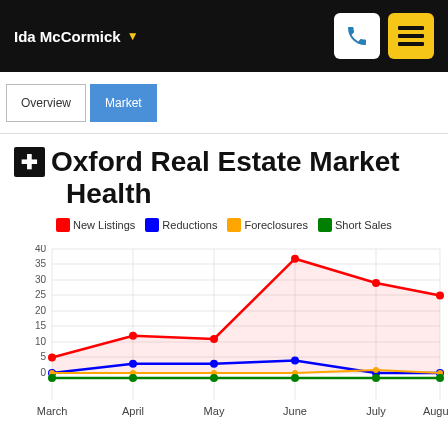Ida McCormick
Oxford Real Estate Market Health
[Figure (line-chart): Oxford Real Estate Market Health]